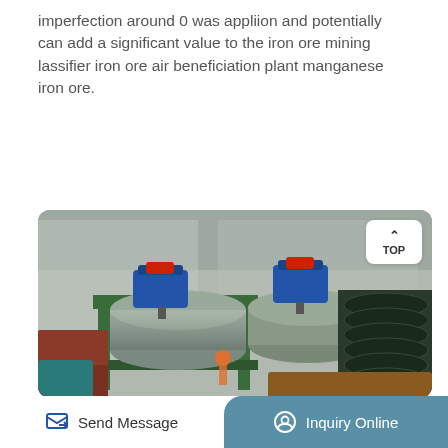imperfection around 0 was appliion and potentially can add a significant value to the iron ore mining lassifier iron ore air beneficiation plant manganese iron ore.
Get More
[Figure (photo): Industrial mining equipment showing large cylindrical drum and spiral conveyor machinery in a factory/plant setting]
Send Message | Inquiry Online